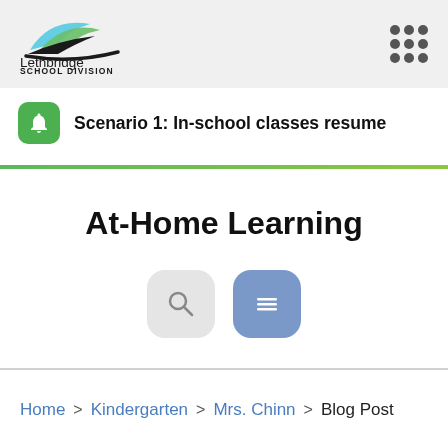Lethbridge School Division
Scenario 1: In-school classes resume
At-Home Learning
[Figure (screenshot): Search and menu icon buttons]
Home > Kindergarten > Mrs. Chinn > Blog Post